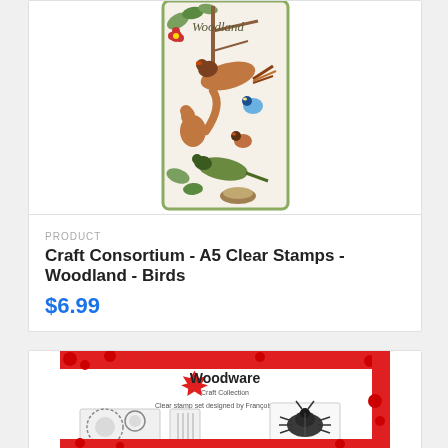[Figure (photo): Product image of Craft Consortium A5 Clear Stamps - Woodland - Birds, showing a stamp set with illustrated woodland birds, squirrel, and florals on a card labeled 'Woodland']
PRODUCT
Craft Consortium - A5 Clear Stamps - Woodland - Birds
$6.99
[Figure (photo): Product image of a Woodware Craft Collection clear stamp set designed by Françoise Read, featuring insects including a beetle, and floral/nature elements, with red splatter design on packaging]